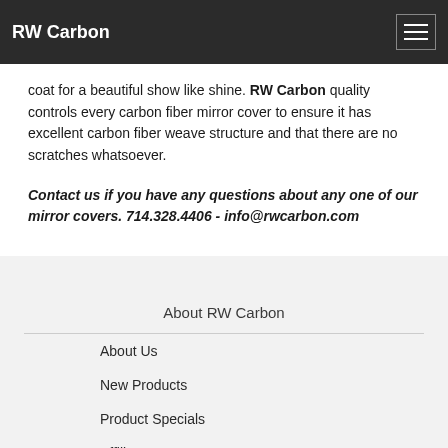RW Carbon
coat for a beautiful show like shine. RW Carbon quality controls every carbon fiber mirror cover to ensure it has excellent carbon fiber weave structure and that there are no scratches whatsoever.
Contact us if you have any questions about any one of our mirror covers. 714.328.4406 - info@rwcarbon.com
About RW Carbon
About Us
New Products
Product Specials
Affiliate Program